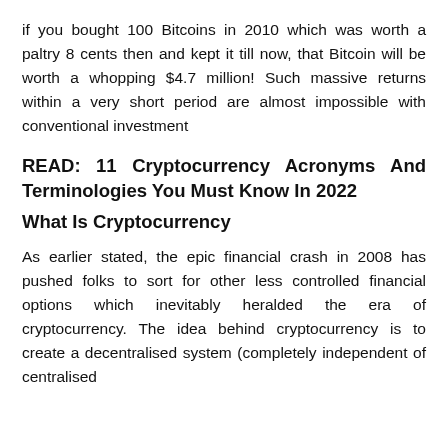if you bought 100 Bitcoins in 2010 which was worth a paltry 8 cents then and kept it till now, that Bitcoin will be worth a whopping $4.7 million! Such massive returns within a very short period are almost impossible with conventional investment
READ: 11 Cryptocurrency Acronyms And Terminologies You Must Know In 2022
What Is Cryptocurrency
As earlier stated, the epic financial crash in 2008 has pushed folks to sort for other less controlled financial options which inevitably heralded the era of cryptocurrency. The idea behind cryptocurrency is to create a decentralised system (completely independent of centralised